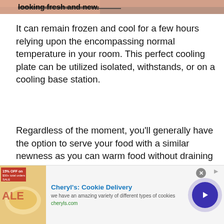[Figure (photo): Partial top image strip showing food/cooking scene with dark reddish-brown tones, partially obscured by overlay text]
looking fresh and new.
It can remain frozen and cool for a few hours relying upon the encompassing normal temperature in your room. This perfect cooling plate can be utilized isolated, withstands, or on a cooling base station.
Regardless of the moment, you'll generally have the option to serve your food with a similar newness as you can warm food without draining it of its regular juices. It offers the experience of recently out-of-the-stove meals to serve you and your family.
[Figure (screenshot): Advertisement banner for Cheryl's Cookie Delivery showing cookie image, ad title, description text, website URL, close button, and arrow button]